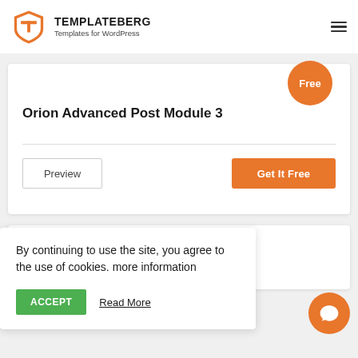TEMPLATEBERG Templates for WordPress
Free
Orion Advanced Post Module 3
Preview
Get It Free
By continuing to use the site, you agree to the use of cookies. more information
ACCEPT
Read More